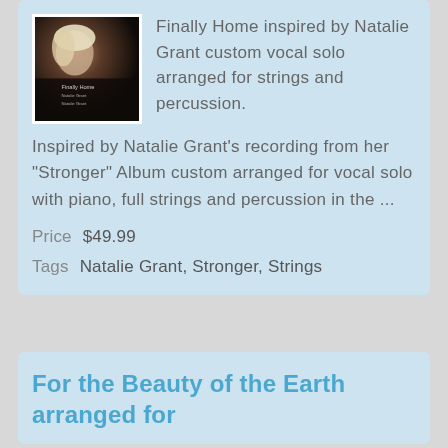[Figure (photo): Album cover for 'Finally Home' by Natalie Grant showing a blonde woman's face with dark background]
Finally Home inspired by Natalie Grant custom vocal solo arranged for strings and percussion.
Inspired by Natalie Grant's recording from her "Stronger" Album custom arranged for vocal solo with piano, full strings and percussion in the ...
Price  $49.99
Tags  Natalie Grant, Stronger, Strings
For the Beauty of the Earth arranged for